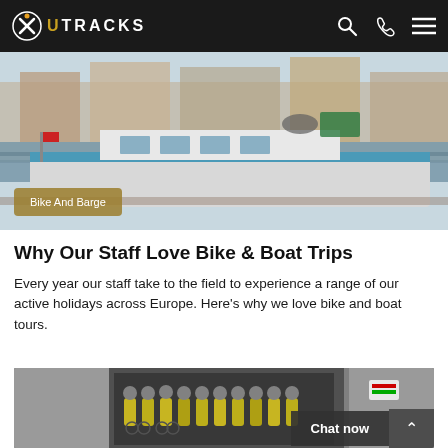UTRACKS
[Figure (photo): A white river barge moored at a canal bank with buildings in the background]
Bike And Barge
Why Our Staff Love Bike & Boat Trips
Every year our staff take to the field to experience a range of our active holidays across Europe. Here's why we love bike and boat tours.
[Figure (photo): Group of cyclists in yellow jerseys standing with bikes in front of a building entrance]
Chat now